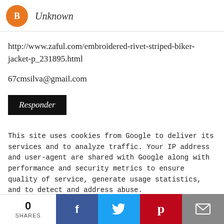Unknown
http://www.zaful.com/embroidered-rivet-striped-biker-jacket-p_231895.html
67cmsilva@gmail.com
Responder
This site uses cookies from Google to deliver its services and to analyze traffic. Your IP address and user-agent are shared with Google along with performance and security metrics to ensure quality of service, generate usage statistics, and to detect and address abuse.
http://www.zaful.com/flowy-printed-long-sleeve-maxi-dress-p_236106.html
mfranco259@gmail.com
0 SHARES